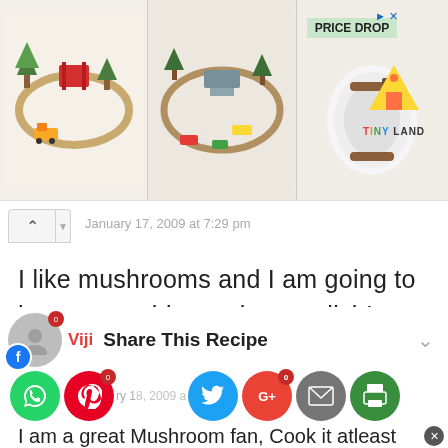[Figure (photo): Advertisement banner showing toy train sets and a rolled white towel with a 'PRICE DROP' badge, and Tiny Land logo]
January 17, 2009 at 7:29 pm
I like mushrooms and I am going to have to try this mushroom dish!
REPLY
Viji
[Figure (infographic): Share This Recipe social media buttons: Facebook, WhatsApp, Pinterest, Twitter, Google+, Email, Print]
I am a great Mushroom fan. Cook it atleast